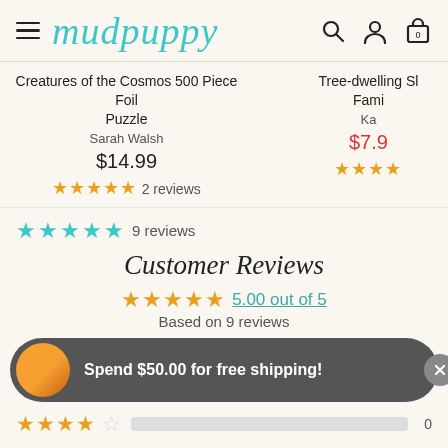mudpuppy
Creatures of the Cosmos 500 Piece Foil Puzzle
Sarah Walsh
$14.99
★★★★★ 2 reviews
Tree-dwelling Sl... Fami...
Kat...
$7.9...
★★★★
★★★★★ 9 reviews
Customer Reviews
★★★★★ 5.00 out of 5
Based on 9 reviews
Spend $50.00 for free shipping!
★★★★☆  0